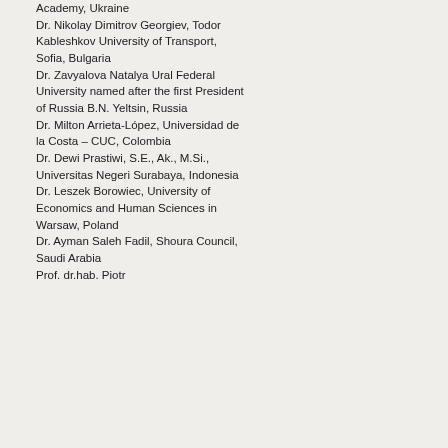Academy, Ukraine
Dr. Nikolay Dimitrov Georgiev, Todor Kableshkov University of Transport, Sofia, Bulgaria
Dr. Zavyalova Natalya Ural Federal University named after the first President of Russia B.N. Yeltsin, Russia
Dr. Milton Arrieta-López, Universidad de la Costa – CUC, Colombia
Dr. Dewi Prastiwi, S.E., Ak., M.Si., Universitas Negeri Surabaya, Indonesia
Dr. Leszek Borowiec, University of Economics and Human Sciences in Warsaw, Poland
Dr. Ayman Saleh Fadil, Shoura Council, Saudi Arabia
Prof. dr.hab. Piotr